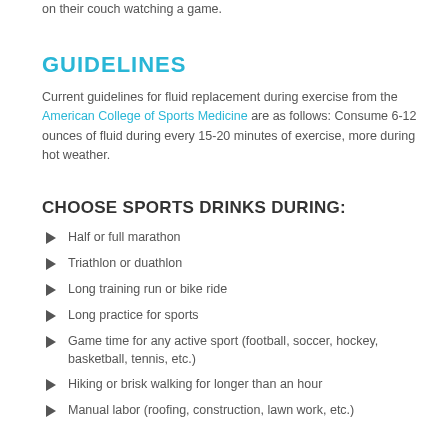on their couch watching a game.
GUIDELINES
Current guidelines for fluid replacement during exercise from the American College of Sports Medicine are as follows: Consume 6-12 ounces of fluid during every 15-20 minutes of exercise, more during hot weather.
CHOOSE SPORTS DRINKS DURING:
Half or full marathon
Triathlon or duathlon
Long training run or bike ride
Long practice for sports
Game time for any active sport (football, soccer, hockey, basketball, tennis, etc.)
Hiking or brisk walking for longer than an hour
Manual labor (roofing, construction, lawn work, etc.)